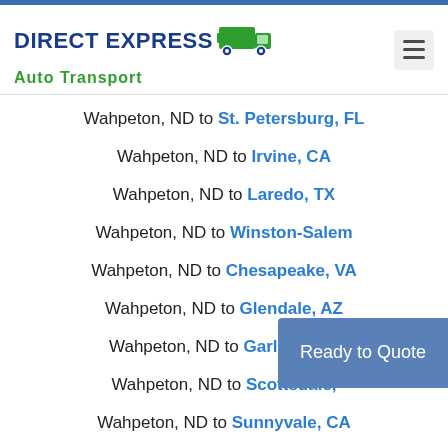DIRECT EXPRESS Auto Transport
Wahpeton, ND to St. Petersburg, FL
Wahpeton, ND to Irvine, CA
Wahpeton, ND to Laredo, TX
Wahpeton, ND to Winston-Salem
Wahpeton, ND to Chesapeake, VA
Wahpeton, ND to Glendale, AZ
Wahpeton, ND to Garland, TX
Wahpeton, ND to Scottsdale,
Wahpeton, ND to Sunnyvale, CA
Ready to Quote